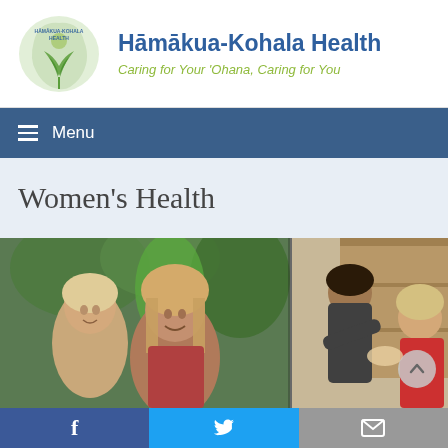[Figure (logo): Hāmākua-Kohala Health organization logo with island shape and plant motif]
Hāmākua-Kohala Health
Caring for Your 'Ohana, Caring for You
≡ Menu
Women's Health
[Figure (photo): Two smiling women with blonde hair outdoors with tropical plants; second panel shows a healthcare provider in red speaking with a patient indoors]
f  t  mail icons — Facebook, Twitter, Email social sharing buttons